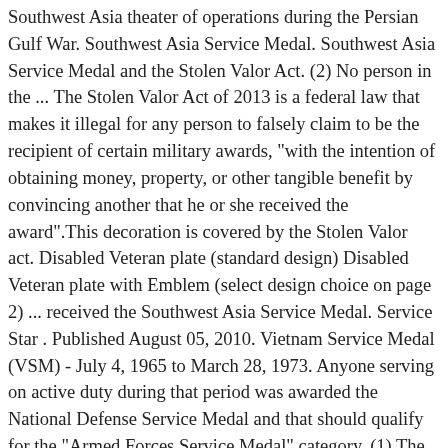Southwest Asia theater of operations during the Persian Gulf War. Southwest Asia Service Medal. Southwest Asia Service Medal and the Stolen Valor Act. (2) No person in the ... The Stolen Valor Act of 2013 is a federal law that makes it illegal for any person to falsely claim to be the recipient of certain military awards, "with the intention of obtaining money, property, or other tangible benefit by convincing another that he or she received the award".This decoration is covered by the Stolen Valor act. Disabled Veteran plate (standard design) Disabled Veteran plate with Emblem (select design choice on page 2) ... received the Southwest Asia Service Medal. Service Star . Published August 05, 2010. Vietnam Service Medal (VSM) - July 4, 1965 to March 28, 1973. Anyone serving on active duty during that period was awarded the National Defense Service Medal and that should qualify for the "Armed Forces Service Medal" category. (1) The medal will be awarded to the officers and enlisted men of the Navy and Marine Corps who shall have actually landed on foreign territory and engaged in operations